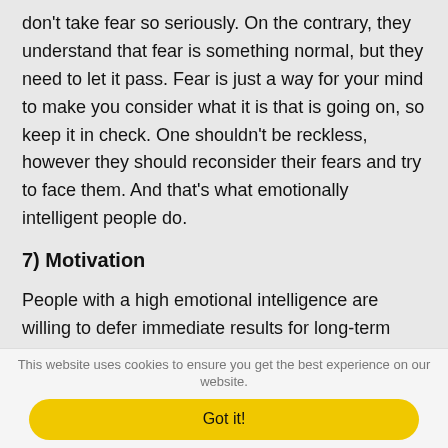don't take fear so seriously. On the contrary, they understand that fear is something normal, but they need to let it pass. Fear is just a way for your mind to make you consider what it is that is going on, so keep it in check. One shouldn't be reckless, however they should reconsider their fears and try to face them. And that's what emotionally intelligent people do.
7) Motivation
People with a high emotional intelligence are willing to defer immediate results for long-term success. They are highly productive, love a challenge, and are effective in whatever they do. On the contrary, they hate being bored, so
This website uses cookies to ensure you get the best experience on our website.
Got it!